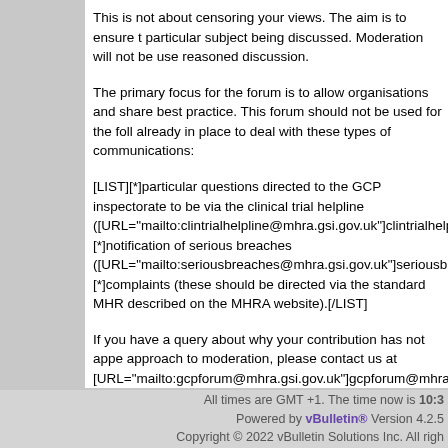This is not about censoring your views. The aim is to ensure that comments are relevant to the particular subject being discussed. Moderation will not be used to stifle reasoned discussion.
The primary focus for the forum is to allow organisations and individuals to share best practice. This forum should not be used for the following, as channels are already in place to deal with these types of communications:
[LIST][*]particular questions directed to the GCP inspectorate, as these should be to be via the clinical trial helpline ([URL="mailto:clintrialhelpline@mhra.gsi.gov.uk"]clintrialhelpline...[*]notification of serious breaches ([URL="mailto:seriousbreaches@mhra.gsi.gov.uk"]seriousbreaches...[*]complaints (these should be directed via the standard MHRA complaints procedure as described on the MHRA website).[/LIST]
If you have a query about why your contribution has not appeared or wish to query our approach to moderation, please contact us at [URL="mailto:gcpforum@mhra.gsi.gov.uk"]gcpforum@mhra.g...
All times are GMT +1. The time now is 10:3
Powered by vBulletin® Version 4.2.5
Copyright © 2022 vBulletin Solutions Inc. All righ